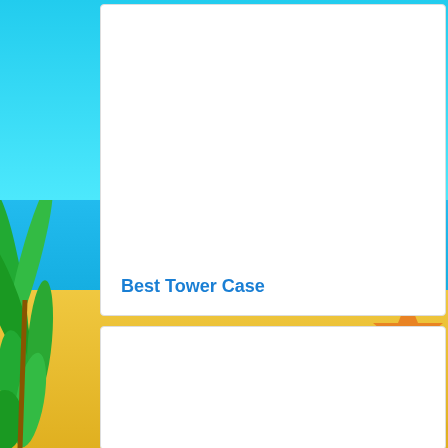[Figure (illustration): Beach scene background with cyan sky, turquoise water, sandy beach, green tropical foliage on left side, and orange starfish/decorative element on lower right. Two white card panels overlaid on the background.]
Best Tower Case